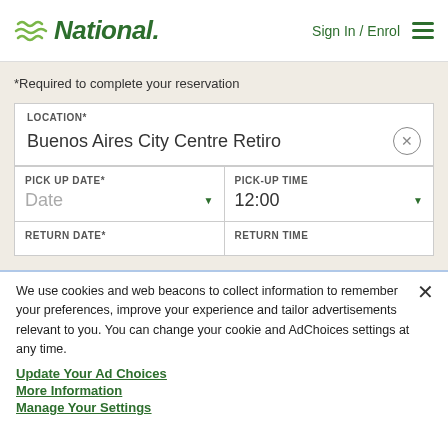National — Sign In / Enrol
*Required to complete your reservation
LOCATION*
Buenos Aires City Centre Retiro
PICK UP DATE*
Date
PICK-UP TIME
12:00
RETURN DATE*
RETURN TIME
We use cookies and web beacons to collect information to remember your preferences, improve your experience and tailor advertisements relevant to you. You can change your cookie and AdChoices settings at any time.
Update Your Ad Choices
More Information
Manage Your Settings